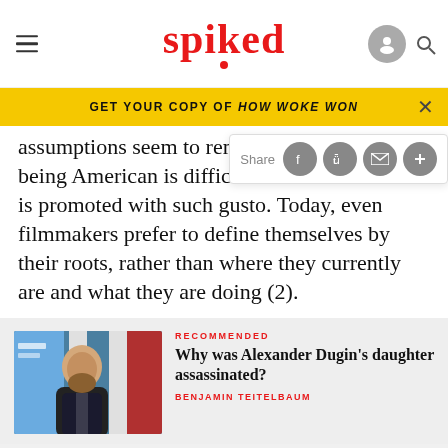spiked
GET YOUR COPY OF HOW WOKE WON
assumptions seem to remain. A being American is difficult to ob is promoted with such gusto. Today, even filmmakers prefer to define themselves by their roots, rather than where they currently are and what they are doing (2).
[Figure (photo): Photo of Alexander Dugin speaking at a podium with microphones, with colorful decorative banners in the background]
RECOMMENDED
Why was Alexander Dugin's daughter assassinated?
BENJAMIN TEITELBAUM
[Figure (screenshot): Advertisement: REPRODUCE YOUR FINE ART - JUST GICLEE.co.uk - FIND OUT MORE]
All in
ABOUT